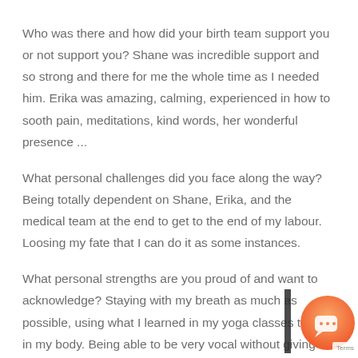Who was there and how did your birth team support you or not support you? Shane was incredible support and so strong and there for me the whole time as I needed him. Erika was amazing, calming, experienced in how to sooth pain, meditations, kind words, her wonderful presence ...
What personal challenges did you face along the way? Being totally dependent on Shane, Erika, and the medical team at the end to get to the end of my labour. Loosing my fate that I can do it as some instances.
What personal strengths are you proud of and want to acknowledge? Staying with my breath as much as possible, using what I learned in my yoga classes to stay in my body. Being able to be very vocal without giving a shit. Being proud of accepting help and getting the medical team their job when I was no longer capable. Were there parts of...